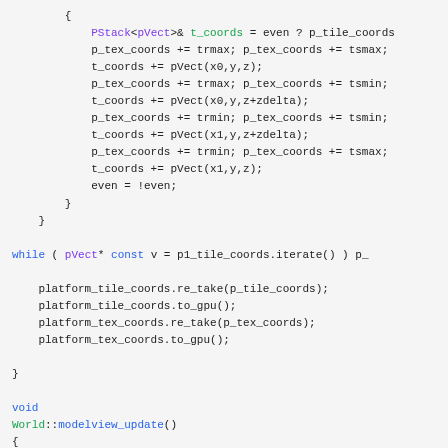Code snippet showing C++ source code with PStack, pVect, while loop, platform_tile_coords, platform_tex_coords, void, World::modelview_update, pMatrix_Translate, pMatrix_Rotation, modelview, pMatrix reflect